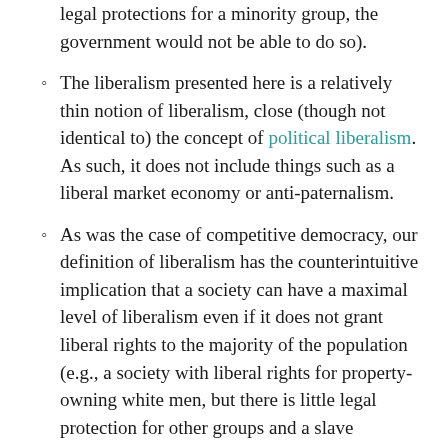legal protections for a minority group, the government would not be able to do so).
The liberalism presented here is a relatively thin notion of liberalism, close (though not identical to) the concept of political liberalism. As such, it does not include things such as a liberal market economy or anti-paternalism.
As was the case of competitive democracy, our definition of liberalism has the counterintuitive implication that a society can have a maximal level of liberalism even if it does not grant liberal rights to the majority of the population (e.g., a society with liberal rights for property-owning white men, but there is little legal protection for other groups and a slave economy). However, we do not